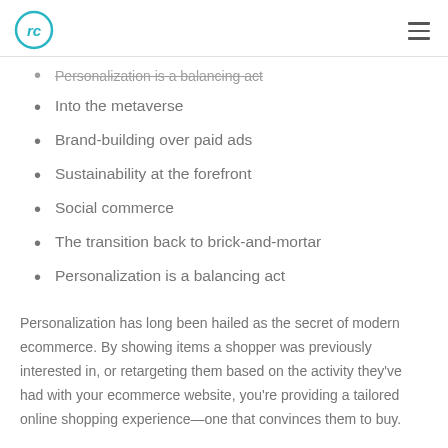RC logo and navigation
Personalization is a balancing act (partial, strikethrough)
Into the metaverse
Brand-building over paid ads
Sustainability at the forefront
Social commerce
The transition back to brick-and-mortar
Personalization is a balancing act
Personalization has long been hailed as the secret of modern ecommerce. By showing items a shopper was previously interested in, or retargeting them based on the activity they've had with your ecommerce website, you're providing a tailored online shopping experience—one that convinces them to buy.